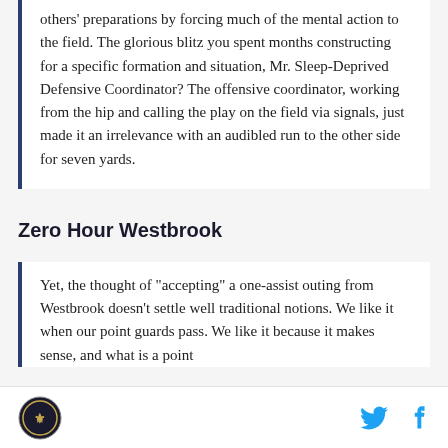others' preparations by forcing much of the mental action to the field. The glorious blitz you spent months constructing for a specific formation and situation, Mr. Sleep-Deprived Defensive Coordinator? The offensive coordinator, working from the hip and calling the play on the field via signals, just made it an irrelevance with an audibled run to the other side for seven yards.
Zero Hour Westbrook
Yet, the thought of "accepting" a one-assist outing from Westbrook doesn't settle well traditional notions. We like it when our point guards pass. We like it because it makes sense, and what is a point